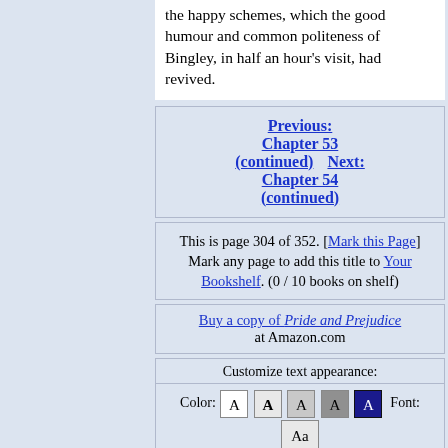the happy schemes, which the good humour and common politeness of Bingley, in half an hour's visit, had revived.
Previous: Chapter 53 (continued)   Next: Chapter 54 (continued)
This is page 304 of 352. [Mark this Page] Mark any page to add this title to Your Bookshelf. (0 / 10 books on shelf)
Buy a copy of Pride and Prejudice at Amazon.com
Customize text appearance:
Color: A A A A A  Font: Aa  Aa  Size: 1 2 3 4 5  Defaults
(c) 2003-2012 LiteraturePage.com and Michael Moncur. All rights reserved. For information about public domain texts appearing here, read the copyright information and disclaimer.